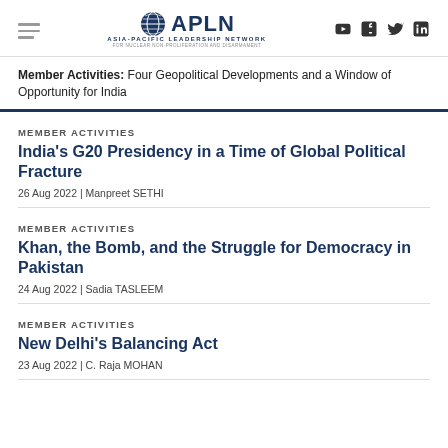APLN — Asia-Pacific Leadership Network
Member Activities: Four Geopolitical Developments and a Window of Opportunity for India
MEMBER ACTIVITIES
India's G20 Presidency in a Time of Global Political Fracture
26 Aug 2022 | Manpreet SETHI
MEMBER ACTIVITIES
Khan, the Bomb, and the Struggle for Democracy in Pakistan
24 Aug 2022 | Sadia TASLEEM
MEMBER ACTIVITIES
New Delhi's Balancing Act
23 Aug 2022 | C. Raja MOHAN